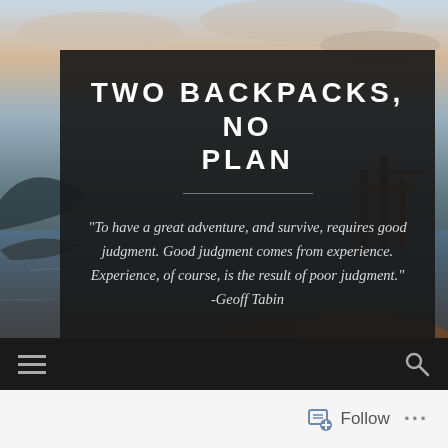[Figure (photo): Outdoor scenic photo showing a waterfront at dusk/dawn with boats, water, wooden structures, and a colorful sky with clouds in blues and oranges.]
TWO BACKPACKS, NO PLAN
"To have a great adventure, and survive, requires good judgment. Good judgment comes from experience. Experience, of course, is the result of poor judgment." -Geoff Tabin
Follow